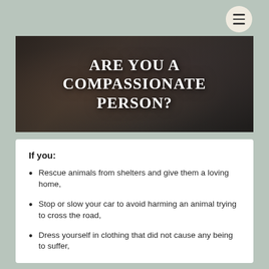[Figure (photo): Hero image of a person with a horse, dark moody background, overlaid with large white serif text reading ARE YOU A COMPASSIONATE PERSON?]
ARE YOU A COMPASSIONATE PERSON?
If you:
Rescue animals from shelters and give them a loving home,
Stop or slow your car to avoid harming an animal trying to cross the road,
Dress yourself in clothing that did not cause any being to suffer,
Avoid any products derived from animals or that cause animals to suffer,